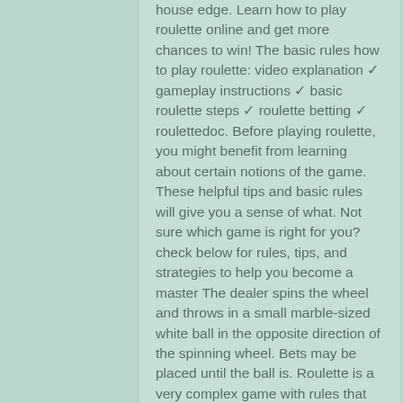house edge. Learn how to play roulette online and get more chances to win! The basic rules how to play roulette: video explanation ✓ gameplay instructions ✓ basic roulette steps ✓ roulette betting ✓ roulettedoc. Before playing roulette, you might benefit from learning about certain notions of the game. These helpful tips and basic rules will give you a sense of what. Not sure which game is right for you? check below for rules, tips, and strategies to help you become a master The dealer spins the wheel and throws in a small marble-sized white ball in the opposite direction of the spinning wheel. Bets may be placed until the ball is. Roulette is a very complex game with rules that seem hard to understand, but with this guide on &quot;how to play roulette&quot; you wont have any problem. 4 мин · материалы: email, laptop or mobile1. Choose a bet on the roulette table – you can